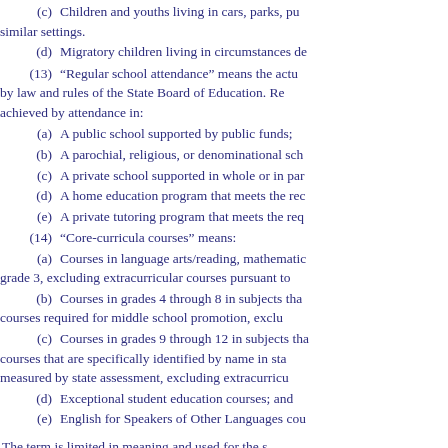(c) Children and youths living in cars, parks, public spaces, abandoned buildings, substandard housing, bus or train stations, or similar settings.
(d) Migratory children living in circumstances described in paragraphs (a) through (c).
(13) "Regular school attendance" means the actual attendance of a pupil during the hours and days required by law and rules of the State Board of Education. Regular school attendance may be achieved by attendance in:
(a) A public school supported by public funds;
(b) A parochial, religious, or denominational school;
(c) A private school supported in whole or in part by tuition charges or by endowments;
(d) A home education program that meets the requirements of s. 1002.41;
(e) A private tutoring program that meets the requirements of s. 1002.43.
(14) "Core-curricula courses" means:
(a) Courses in language arts/reading, mathematics, science, and social studies in kindergarten through grade 3, excluding extracurricular courses pursuant to s. 1006.15;
(b) Courses in grades 4 through 8 in subjects that are measured by state assessment and courses required for middle school promotion, excluding extracurricular courses pursuant to s. 1006.15;
(c) Courses in grades 9 through 12 in subjects that are measured by state assessment, including courses that are specifically identified by name in statute or State Board of Education rule as courses measured by state assessment, excluding extracurricular courses pursuant to s. 1006.15;
(d) Exceptional student education courses; and
(e) English for Speakers of Other Languages courses.
The term is limited in meaning and used for the specific purposes described in this chapter.